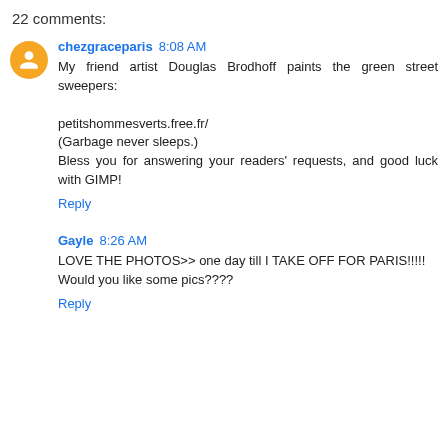22 comments:
chezgraceparis 8:08 AM
My friend artist Douglas Brodhoff paints the green street sweepers:

petitshommesverts.free.fr/
(Garbage never sleeps.)
Bless you for answering your readers' requests, and good luck with GIMP!
Reply
Gayle 8:26 AM
LOVE THE PHOTOS>> one day till I TAKE OFF FOR PARIS!!!!!
Would you like some pics????
Reply